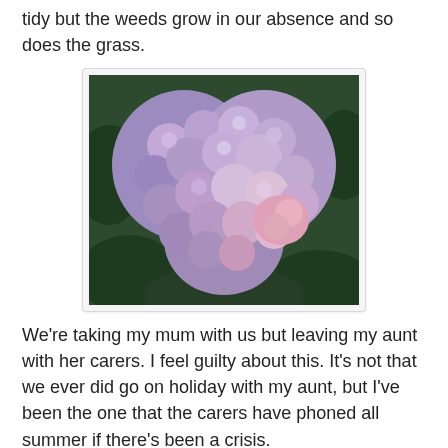tidy but the weeds grow in our absence and so does the grass.
[Figure (photo): A large heart-shaped cluster of purple and lilac hydrangea flowers photographed from above, set against dark green foliage.]
We're taking my mum with us but leaving my aunt with her carers. I feel guilty about this. It's not that we ever did go on holiday with my aunt, but I've been the one that the carers have phoned all summer if there's been a crisis.
[Figure (photo): A partial view of a grave or flower bed with colourful flowers and green grass in the background.]